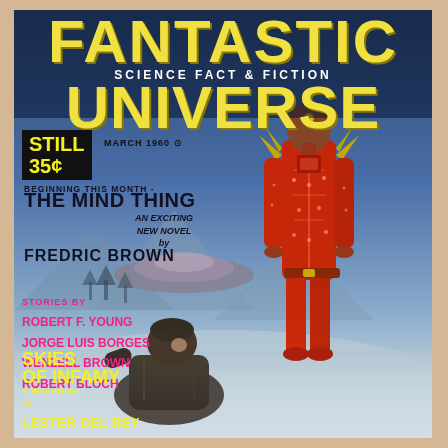FANTASTIC
SCIENCE FACT & FICTION
UNIVERSE
STILL 35¢
MARCH 1960
BEGINNING THIS MONTH -
THE MIND THING
AN EXCITING NEW NOVEL by FREDRIC BROWN
STORIES BY
ROBERT F. YOUNG
JORGE LUIS BORGES
WENZELL BROWN
ROBERT BLOCH
SKIES OF INFAMY
A New Article by LESTER DEL REY
[Figure (illustration): Cover of Fantastic Universe Science Fact & Fiction magazine, March 1960. Features a red alien humanoid figure standing in a snowy landscape with a flying saucer in the background, and a human figure crouching in the foreground. Yellow title text dominates the top of the cover.]